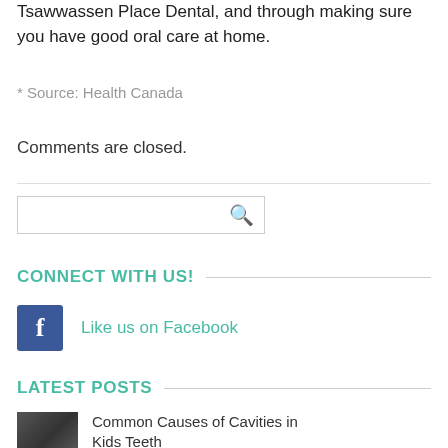Tsawwassen Place Dental, and through making sure you have good oral care at home.
* Source: Health Canada
Comments are closed.
[Figure (other): Search input box with magnifying glass icon]
CONNECT WITH US!
[Figure (other): Facebook icon button (blue square with white f)]
Like us on Facebook
LATEST POSTS
[Figure (photo): Small thumbnail photo for post about Common Causes of Cavities in Kids Teeth]
Common Causes of Cavities in Kids Teeth